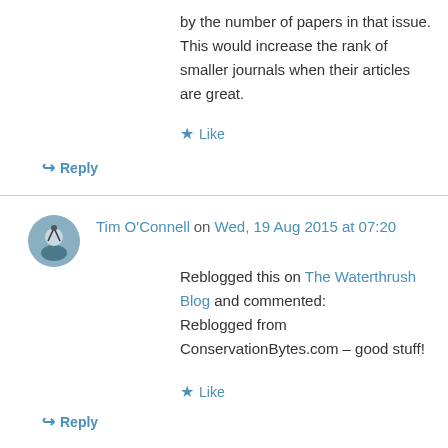by the number of papers in that issue. This would increase the rank of smaller journals when their articles are great.
★ Like
↪ Reply
Tim O'Connell on Wed, 19 Aug 2015 at 07:20
Reblogged this on The Waterthrush Blog and commented:
Reblogged from ConservationBytes.com – good stuff!
★ Like
↪ Reply